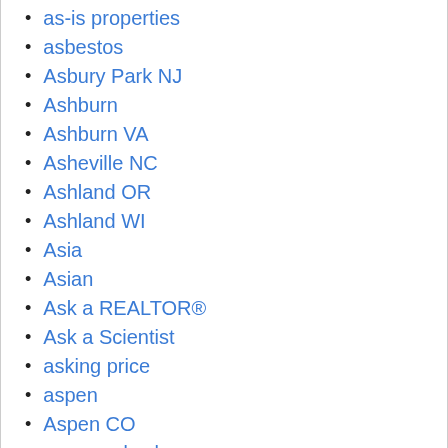as-is properties
asbestos
Asbury Park NJ
Ashburn
Ashburn VA
Asheville NC
Ashland OR
Ashland WI
Asia
Asian
Ask a REALTOR®
Ask a Scientist
asking price
aspen
Aspen CO
assessed value
assessment
Astoria
Astoria OR